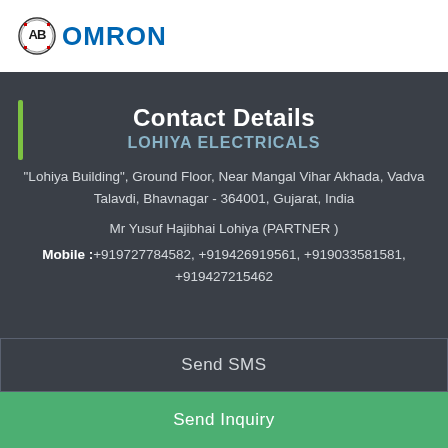[Figure (logo): AB (Allen-Bradley) circular logo and OMRON brand name in blue]
Contact Details
LOHIYA ELECTRICALS
"Lohiya Building", Ground Floor, Near Mangal Vihar Akhada, Vadva Talavdi, Bhavnagar - 364001, Gujarat, India
Mr Yusuf Hajibhai Lohiya (PARTNER )
Mobile :+919727784582, +919426919561, +919033581581, +919427215462
Send SMS
Send Inquiry